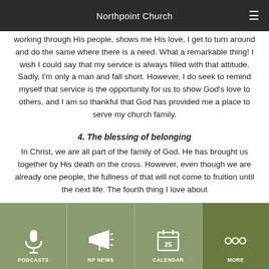Northpoint Church
working through His people, shows me His love, I get to turn around and do the same where there is a need. What a remarkable thing! I wish I could say that my service is always filled with that attitude. Sadly, I'm only a man and fall short. However, I do seek to remind myself that service is the opportunity for us to show God's love to others, and I am so thankful that God has provided me a place to serve my church family.
4. The blessing of belonging
In Christ, we are all part of the family of God. He has brought us together by His death on the cross. However, even though we are already one people, the fullness of that will not come to fruition until the next life. The fourth thing I love about
PODCASTS | NP NEWS | CALENDAR | MORE